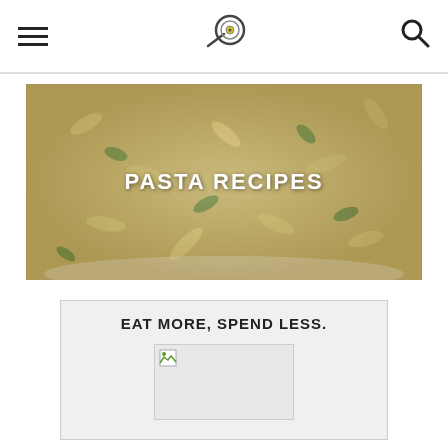Navigation bar with hamburger menu, logo, and search icon
[Figure (photo): Overhead photo of a bowl of penne pasta with spinach, chicken, and creamy sauce. Text overlay reads PASTA RECIPES.]
EAT MORE, SPEND LESS.
[Figure (photo): Broken/unloaded image placeholder inside a promotional box]